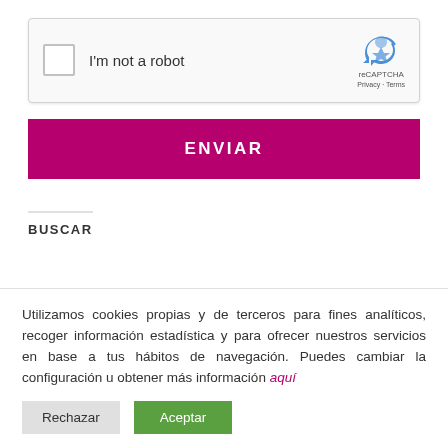[Figure (screenshot): reCAPTCHA widget with checkbox 'I'm not a robot' and reCAPTCHA logo with Privacy and Terms links]
ENVIAR
BUSCAR
Utilizamos cookies propias y de terceros para fines analíticos, recoger información estadística y para ofrecer nuestros servicios en base a tus hábitos de navegación. Puedes cambiar la configuración u obtener más información aquí
Rechazar
Aceptar